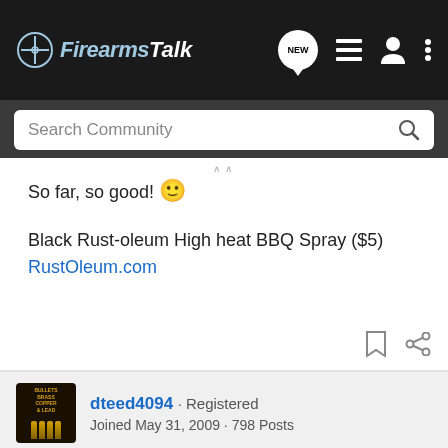FirearmsTalk
Search Community
So far, so good! 🙂
Black Rust-oleum High heat BBQ Spray ($5)
RustOleum.com
dteed4094 · Registered
Joined May 31, 2009 · 798 Posts
#20 · Feb 5, 2010 (Edited)
Glad to  and Wood F  hing about p  he
[Figure (screenshot): Cabela's RELOADING SUPPLIES - SHOP NOW advertisement banner]